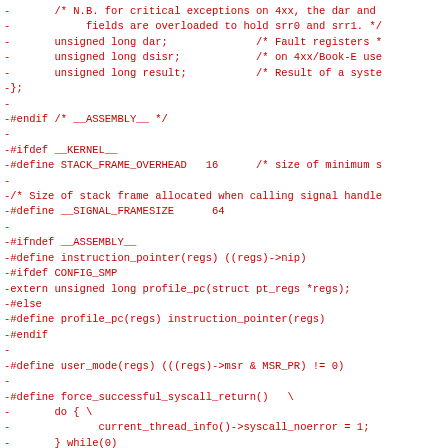- /* N.B. for critical exceptions on 4xx, the dar and
-      fields are overloaded to hold srr0 and srr1. */
-      unsigned long dar;              /* Fault registers *
-      unsigned long dsisr;             /* on 4xx/Book-E use
-      unsigned long result;            /* Result of a syste
-};
-
-#endif /* __ASSEMBLY__ */
-
-#ifdef __KERNEL__
-#define STACK_FRAME_OVERHEAD   16      /* size of minimum s
-
-/* Size of stack frame allocated when calling signal handle
-#define __SIGNAL_FRAMESIZE      64
-
-#ifndef __ASSEMBLY__
-#define instruction_pointer(regs) ((regs)->nip)
-#ifdef CONFIG_SMP
-extern unsigned long profile_pc(struct pt_regs *regs);
-#else
-#define profile_pc(regs) instruction_pointer(regs)
-#endif
-
-#define user_mode(regs) (((regs)->msr & MSR_PR) != 0)
-
-#define force_successful_syscall_return()   \
-       do { \
-              current_thread_info()->syscall_noerror = 1;
-       } while(0)
-
-/*
- * We use the least-significant bit of the trap field to in
- * that the following fault...